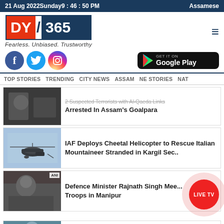21 Aug 2022 Sunday 9 : 46 : 50 PM   Assamese
[Figure (logo): DY365 news logo with tagline Fearless. Unbiased. Trustworthy]
[Figure (infographic): Social media icons (Facebook, Twitter, Instagram) and Google Play button]
TOP STORIES   TRENDING   CITY NEWS   ASSAM   NE STORIES   NAT
[Figure (photo): Thumbnail image - dark/grainy - suspected terrorists news]
2 Suspected Terrorists with Al-Qaeda Links Arrested In Assam's Goalpara
[Figure (photo): Helicopter silhouette against blue sky]
IAF Deploys Cheetal Helicopter to Rescue Italian Mountaineer Stranded in Kargil Sec..
[Figure (photo): ANI - crowd photo, Defence Minister Rajnath Singh with troops]
Defence Minister Rajnath Singh Meets Troops in Manipur
[Figure (other): LIVE TV button - red circle with pink outer glow]
[Figure (photo): Bottom partial thumbnail - blue toned image]